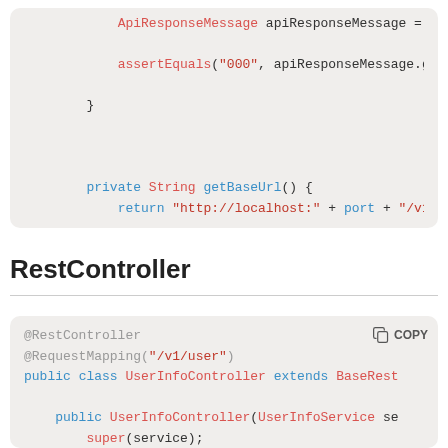[Figure (screenshot): Code block showing Java test method end: ApiResponseMessage apiResponseMessage = ..., assertEquals("000", apiResponseMessage.g..., closing braces, private String getBaseUrl() { return "http://localhost:" + port + "/v1..., closing braces]
RestController
[Figure (screenshot): Code block showing Java RestController snippet: @RestController, @RequestMapping("/v1/user"), public class UserInfoController extends BaseRest..., public UserInfoController(UserInfoService se..., super(service);]